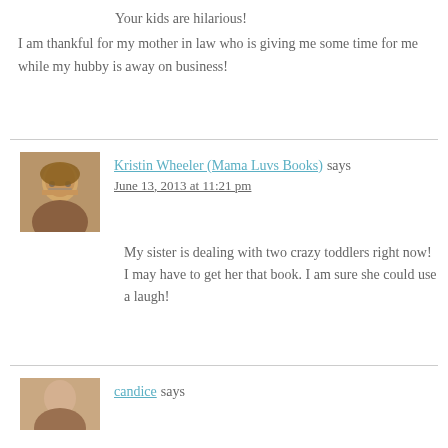Your kids are hilarious!
I am thankful for my mother in law who is giving me some time for me while my hubby is away on business!
Kristin Wheeler (Mama Luvs Books) says
June 13, 2013 at 11:21 pm
My sister is dealing with two crazy toddlers right now! I may have to get her that book. I am sure she could use a laugh!
candice says